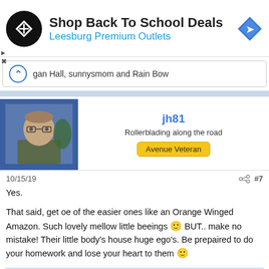[Figure (advertisement): Ad banner: Shop Back To School Deals at Leesburg Premium Outlets with logo and navigation icon]
gan Hall, sunnysmom and Rain Bow
[Figure (photo): User profile photo of jh81, a man with glasses]
jh81
Rollerblading along the road
Avenue Veteran
10/15/19   #7
Yes.

That said, get oe of the easier ones like an Orange Winged Amazon. Such lovely mellow little beeings 🙂 BUT.. make no mistake! Their little body's house huge ego's. Be prepaired to do your homework and lose your heart to them 🙂
Teagan Hall and sunnysmom